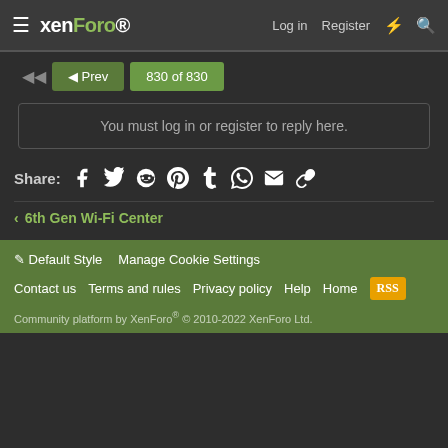XenForo | Log in | Register
◄◄  ◄ Prev  830 of 830
You must log in or register to reply here.
Share:
< 6th Gen Wi-Fi Center
Default Style  Manage Cookie Settings  Contact us  Terms and rules  Privacy policy  Help  Home  Community platform by XenForo® © 2010-2022 XenForo Ltd.